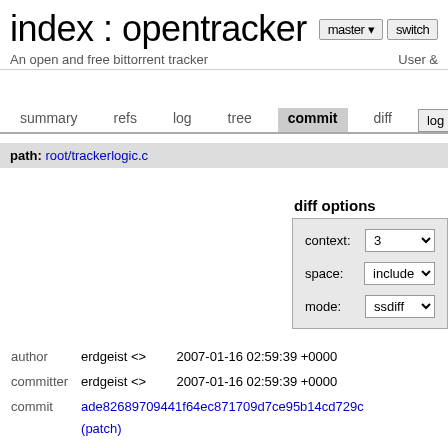index : opentracker
An open and free bittorrent tracker    User &
summary  refs  log  tree  commit  diff  log msg
path: root/trackerlogic.c
diff options
context: 3
space: include
mode: ssdiff
| author | erdgeist <> | 2007-01-16 02:59:39 +0000 |
| committer | erdgeist <> | 2007-01-16 02:59:39 +0000 |
| commit | ade82689709441f64ec871709d7ce95b14cd729c (patch) |  |
| tree | fc30416e009b355556bdc9982707f45f5c97734a /trackerlogic.c |  |
| parent | ec531730ababd42f01a5b30da0cabf5e5a9577f9 (diff) |  |